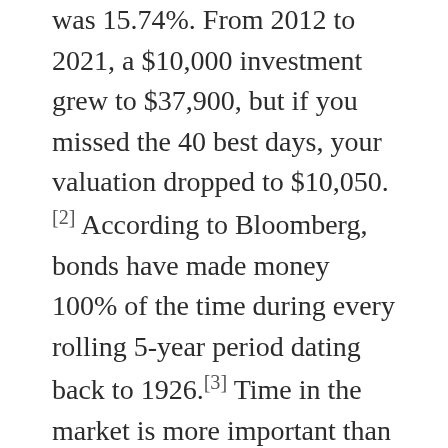was 15.74%. From 2012 to 2021, a $10,000 investment grew to $37,900, but if you missed the 40 best days, your valuation dropped to $10,050.[2] According to Bloomberg, bonds have made money 100% of the time during every rolling 5-year period dating back to 1926.[3] Time in the market is more important than timing the market.
Inflation spikes have occurred about fifteen times over the past 108 years or every seven years. We last experienced a severe increase more than forty years ago, from 1977 to 1980. Once inflation started